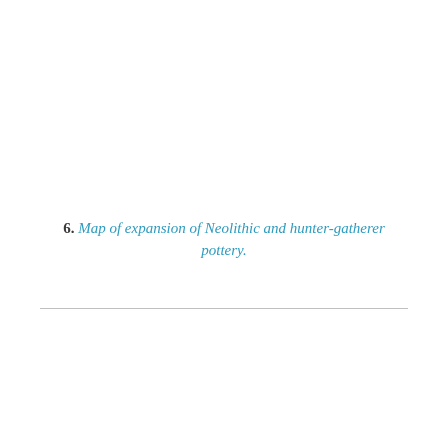6. Map of expansion of Neolithic and hunter-gatherer pottery.